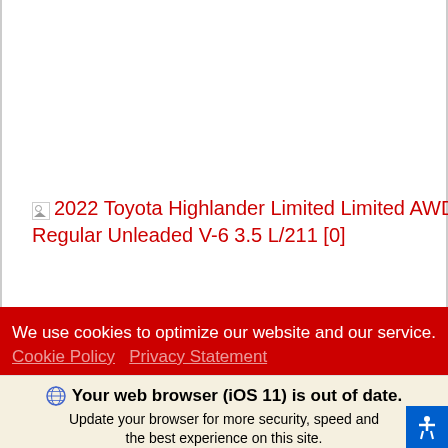[Figure (other): Broken image placeholder showing alt text: 2022 Toyota Highlander Limited Limited AWD Regular Unleaded V-6 3.5 L/211 [0]]
We use cookies to optimize our website and our service.
Cookie Policy  Privacy Statement
Your web browser (iOS 11) is out of date. Update your browser for more security, speed and the best experience on this site.
Update browser   Ignore